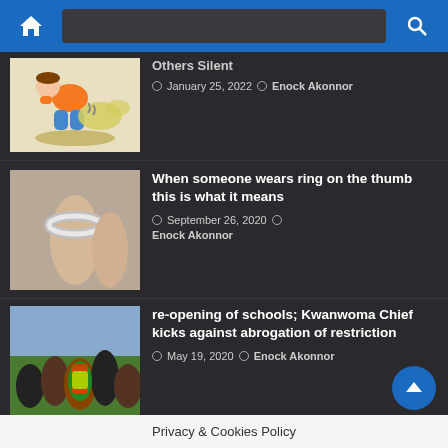Home / Search navigation bar
Others Silent — January 25, 2022 — Enock Akonnor
When someone wears ring on the thumb this is what it means — September 26, 2020 — Enock Akonnor
re-opening of schools; Kwanwoma Chief kicks against abrogation of restriction — May 19, 2020 — Enock Akonnor
If a girl does any of these 4 things infront of you, run away from h…
Privacy & Cookies Policy